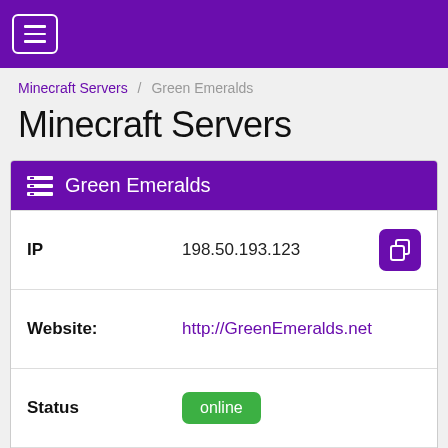☰ (navigation menu)
Minecraft Servers / Green Emeralds
Minecraft Servers
| Field | Value |
| --- | --- |
| IP | 198.50.193.123 |
| Website: | http://GreenEmeralds.net |
| Status | online |
| Players | 0 / 24 |
| Version | 1.17.1 |